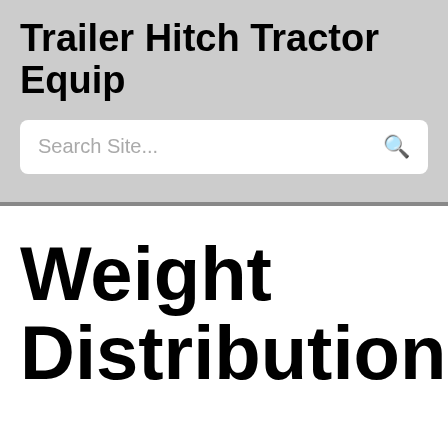Trailer Hitch Tractor Equip
Search Site...
Weight Distribution